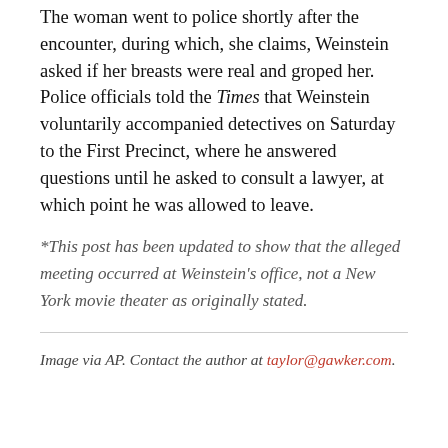The woman went to police shortly after the encounter, during which, she claims, Weinstein asked if her breasts were real and groped her. Police officials told the Times that Weinstein voluntarily accompanied detectives on Saturday to the First Precinct, where he answered questions until he asked to consult a lawyer, at which point he was allowed to leave.
*This post has been updated to show that the alleged meeting occurred at Weinstein's office, not a New York movie theater as originally stated.
Image via AP. Contact the author at taylor@gawker.com.